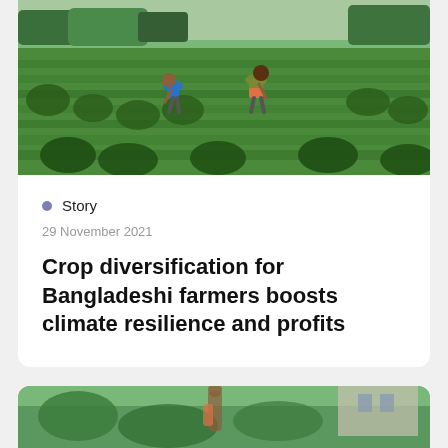[Figure (photo): Two farmers bending over and working in a lush green crop field in Bangladesh, with trees and additional fields visible in the background]
Story
29 November 2021
Crop diversification for Bangladeshi farmers boosts climate resilience and profits
[Figure (photo): Partial view of a second story card showing a photo at the bottom of the page]